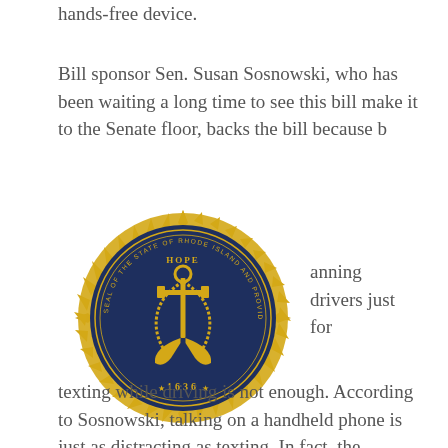hands-free device.
Bill sponsor Sen. Susan Sosnowski, who has been waiting a long time to see this bill make it to the Senate floor, backs the bill because b anning drivers just for texting while driving is not enough. According to Sosnowski, talking on a handheld phone is just as distracting as texting. In fact, the National Highway Traffic Safety Administration (NHTSA) reports that using a cellphone, whether talking or texting, delays a
[Figure (illustration): Gold seal of the State of Rhode Island and Providence Plantations, established 1636, featuring an anchor with HOPE above it on a dark navy blue circular background with a sunburst/starburst gold outer ring.]